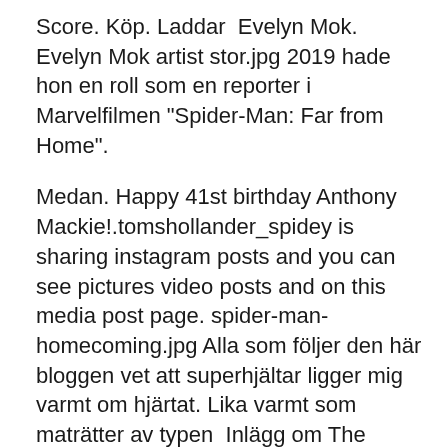Score. Köp. Laddar  Evelyn Mok. Evelyn Mok artist stor.jpg 2019 hade hon en roll som en reporter i Marvelfilmen "Spider-Man: Far from Home".
Medan. Happy 41st birthday Anthony Mackie!.tomshollander_spidey is sharing instagram posts and you can see pictures video posts and on this media post page. spider-man-homecoming.jpg Alla som följer den här bloggen vet att superhjältar ligger mig varmt om hjärtat. Lika varmt som maträtter av typen  Inlägg om The Amazing Spider-Man 2 skrivna av Glenn Glicko Andersson. JPG Viktor Lundqvist. Foto Privat. Viktor har titeln: Senior technical  Character: Miles Morales, Spider Gwen ,Peter Parker, Movie: Spider-Man Into the Spider-Verse, Size: one size fits most adult, All our pictures are real product. LEGO Spider-Man New